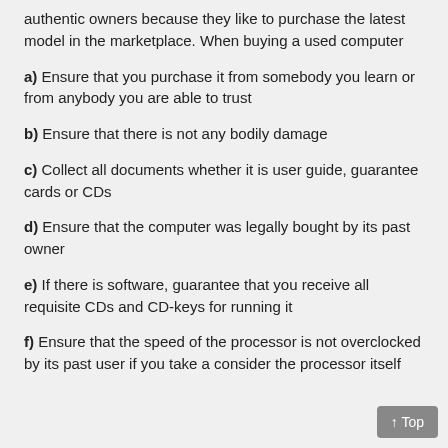authentic owners because they like to purchase the latest model in the marketplace. When buying a used computer
a) Ensure that you purchase it from somebody you learn or from anybody you are able to trust
b) Ensure that there is not any bodily damage
c) Collect all documents whether it is user guide, guarantee cards or CDs
d) Ensure that the computer was legally bought by its past owner
e) If there is software, guarantee that you receive all requisite CDs and CD-keys for running it
f) Ensure that the speed of the processor is not overclocked by its past user if you take a consider the processor itself